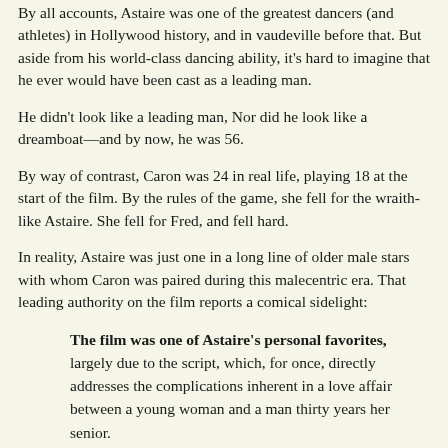By all accounts, Astaire was one of the greatest dancers (and athletes) in Hollywood history, and in vaudeville before that. But aside from his world-class dancing ability, it's hard to imagine that he ever would have been cast as a leading man.
He didn't look like a leading man, Nor did he look like a dreamboat—and by now, he was 56.
By way of contrast, Caron was 24 in real life, playing 18 at the start of the film. By the rules of the game, she fell for the wraith-like Astaire. She fell for Fred, and fell hard.
In reality, Astaire was just one in a long line of older male stars with whom Caron was paired during this malecentric era. That leading authority on the film reports a comical sidelight:
The film was one of Astaire's personal favorites, largely due to the script, which, for once, directly addresses the complications inherent in a love affair between a young woman and a man thirty years her senior.
A man thirty years her senior? Even for men, math is hard!